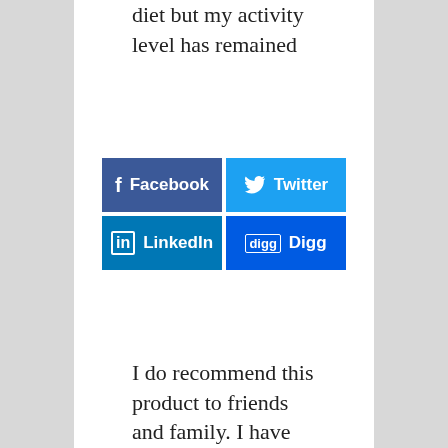diet but my activity level has remained
[Figure (infographic): Social sharing buttons: Facebook (blue), Twitter (light blue), LinkedIn (dark blue), Digg (dark blue)]
I do recommend this product to friends and family. I have heard a lot of bad things about this product and I just cant agree with